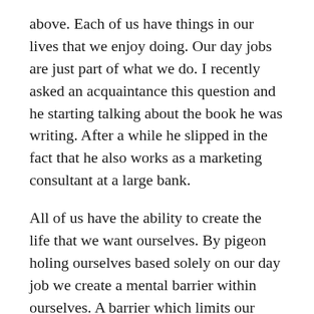above. Each of us have things in our lives that we enjoy doing. Our day jobs are just part of what we do. I recently asked an acquaintance this question and he starting talking about the book he was writing. After a while he slipped in the fact that he also works as a marketing consultant at a large bank.
All of us have the ability to create the life that we want ourselves. By pigeon holing ourselves based solely on our day job we create a mental barrier within ourselves. A barrier which limits our ability to take control of our lives and pursue what we enjoy doing.
This week I came across several articles about people who built amazing things in their spare time. They were inspiring to read and showed that each of us have the ability to achieve whatever we want in life. The Ted video linked below provides us with a simple